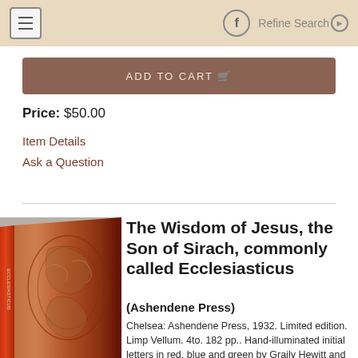≡   f   Refine Search ▶
ADD TO CART 🛒
Price: $50.00
Item Details
Ask a Question
[Figure (photo): Close-up photo of a decorated red book spine with ornate embossed design]
The Wisdom of Jesus, the Son of Sirach, commonly called Ecclesiasticus
(Ashendene Press)
Chelsea: Ashendene Press, 1932. Limited edition. Limp Vellum. 4to. 182 pp.. Hand-illuminated initial letters in red, blue and green by Graily Hewitt and his assistants, Ida D. Henstock and Helen E. Hinkley. (4to.) original vellum, gilt, with...